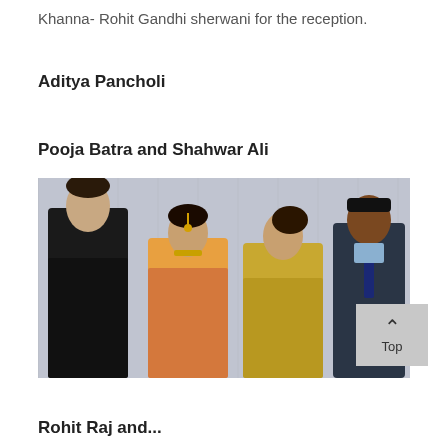Khanna- Rohit Gandhi sherwani for the reception.
Aditya Pancholi
Pooja Batra and Shahwar Ali
[Figure (photo): Group photo of four people at a reception event. From left: a man in a black leather jacket, a woman in bridal attire with jewelry and maang tikka, a woman in a yellow/gold outfit, and a man in a suit with tie.]
Rohit Raj and...